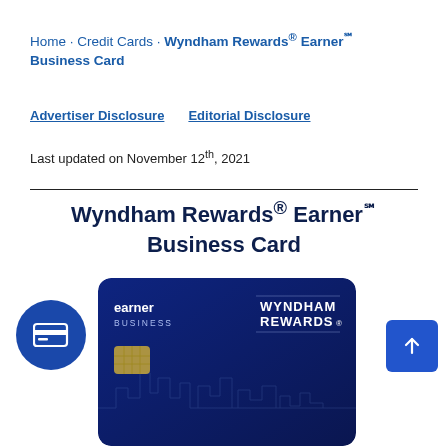Home · Credit Cards · Wyndham Rewards® Earner℠ Business Card
Advertiser Disclosure   Editorial Disclosure
Last updated on November 12th, 2021
Wyndham Rewards® Earner℠ Business Card
[Figure (photo): Wyndham Rewards Earner Business credit card image — dark navy blue card with 'earner BUSINESS' text on upper left and 'WYNDHAM REWARDS' logo on right, city skyline outline in background. Accompanied by a blue circle icon with credit card symbol on the left and a blue arrow button on the right.]